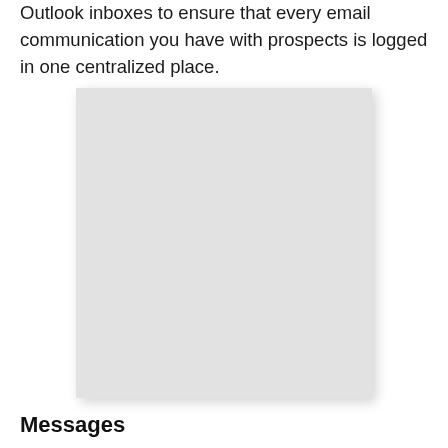Outlook inboxes to ensure that every email communication you have with prospects is logged in one centralized place.
[Figure (screenshot): A light gray placeholder image or screenshot area with a drop shadow]
Messages